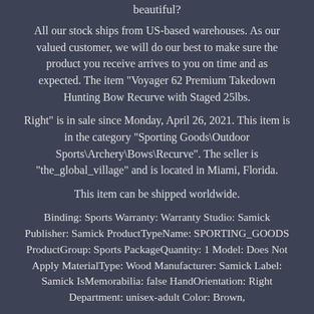beautiful?
All our stock ships from US-based warehouses. As our valued customer, we will do our best to make sure the product you receive arrives to you on time and as expected. The item "Voyager 62 Premium Takedown Hunting Bow Recurve with Staged 25lbs.
Right" is in sale since Monday, April 26, 2021. This item is in the category "Sporting Goods\Outdoor Sports\Archery\Bows\Recurve". The seller is "the_global_village" and is located in Miami, Florida.
This item can be shipped worldwide.
Binding: Sports Warranty: Warranty Studio: Samick Publisher: Samick ProductTypeName: SPORTING_GOODS ProductGroup: Sports PackageQuantity: 1 Model: Does Not Apply MaterialType: Wood Manufacturer: Samick Label: Samick IsMemorabilia: false HandOrientation: Right Department: unisex-adult Color: Brown,